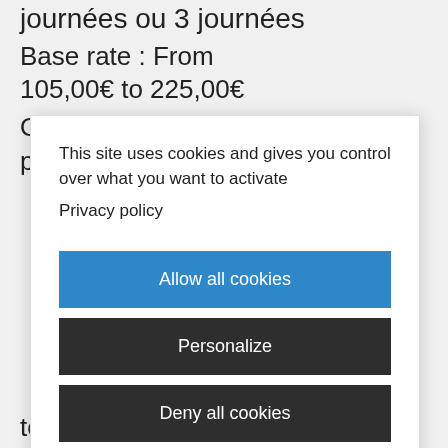journées ou 3 journées
Base rate : From 105,00€ to 225,00€
Optimist Initiation (à partir de 6 ans) – Stage
This site uses cookies and gives you control over what you want to activate
Privacy policy
Allow all cookies
Personalize
Deny all cookies
to 235,00€